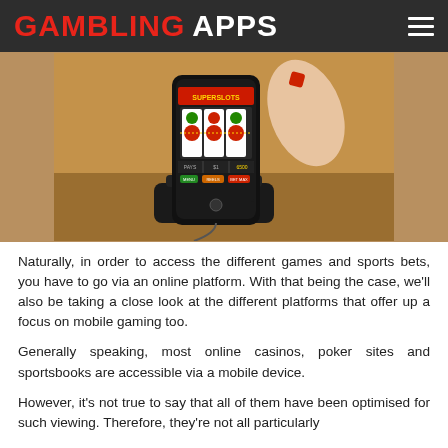GAMBLING APPS
[Figure (photo): A hand holding a small red die above a smartphone in a docking cradle, with a slot machine game (SuperSlots) displayed on the phone screen showing fruit symbols.]
Naturally, in order to access the different games and sports bets, you have to go via an online platform. With that being the case, we'll also be taking a close look at the different platforms that offer up a focus on mobile gaming too.
Generally speaking, most online casinos, poker sites and sportsbooks are accessible via a mobile device.
However, it's not true to say that all of them have been optimised for such viewing. Therefore, they're not all particularly